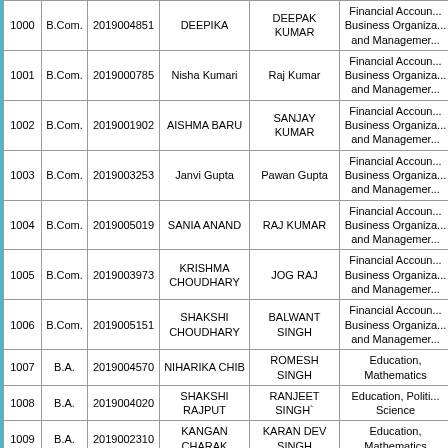| # | Course | Roll No. | Student Name | Father Name | Subjects |
| --- | --- | --- | --- | --- | --- |
| 1000 | B.Com. | 2019004851 | DEEPIKA | DEEPAK KUMAR | Financial Account... Business Organiza... and Managemer... |
| 1001 | B.Com. | 2019000785 | Nisha Kumari | Raj Kumar | Financial Account... Business Organiza... and Managemer... |
| 1002 | B.Com. | 2019001902 | AISHMA BARU | SANJAY KUMAR | Financial Account... Business Organiza... and Managemer... |
| 1003 | B.Com. | 2019003253 | Janvi Gupta | Pawan Gupta | Financial Account... Business Organiza... and Managemer... |
| 1004 | B.Com. | 2019005019 | SANIA ANAND | RAJ KUMAR | Financial Account... Business Organiza... and Managemer... |
| 1005 | B.Com. | 2019003973 | KRISHMA CHOUDHARY | JOG RAJ | Financial Account... Business Organiza... and Managemer... |
| 1006 | B.Com. | 2019005151 | SHAKSHI CHOUDHARY | BALWANT SINGH | Financial Account... Business Organiza... and Managemer... |
| 1007 | B.A. | 2019004570 | NIHARIKA CHIB | ROMESH SINGH | Education, Mathematics |
| 1008 | B.A. | 2019004020 | SHAKSHI RAJPUT | RANJEET SINGH` | Education, Politi... Science |
| 1009 | B.A. | 2019002310 | KANGAN CHARAK | KARAN DEV SINGH | Education, Mathematics |
| 1010 | B.A. | 2019000402 | MUSKAN SHARMA | GOPAL PRASHAD | Education, Mathematics |
| 1011 | B.A. | 2019002385 | PRIYA DEVI | DARSHAN KUMAR | Education, Mathematics |
| 1012 | B.A. | 2019000412 | NITIKA SHARMA | ANIL KUMAR SHARMA | Sociology, Functi... English |
| 1013 | B.A. |  |  |  | Sociology, Functi... |